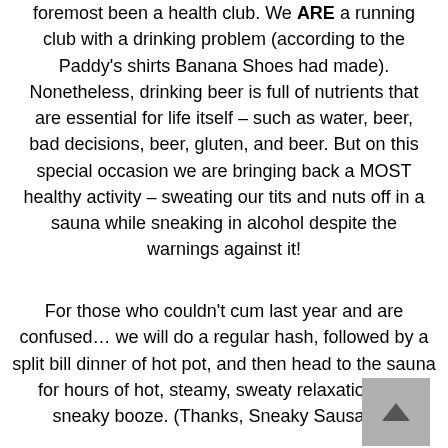foremost been a health club. We ARE a running club with a drinking problem (according to the Paddy's shirts Banana Shoes had made). Nonetheless, drinking beer is full of nutrients that are essential for life itself – such as water, beer, bad decisions, beer, gluten, and beer. But on this special occasion we are bringing back a MOST healthy activity – sweating our tits and nuts off in a sauna while sneaking in alcohol despite the warnings against it!
For those who couldn't cum last year and are confused… we will do a regular hash, followed by a split bill dinner of hot pot, and then head to the sauna for hours of hot, steamy, sweaty relaxation and sneaky booze. (Thanks, Sneaky Sausage).
Note that this year the sauna does not include food, but does have both booze and food for sale.
The sauna itself is 139 kuai buying from